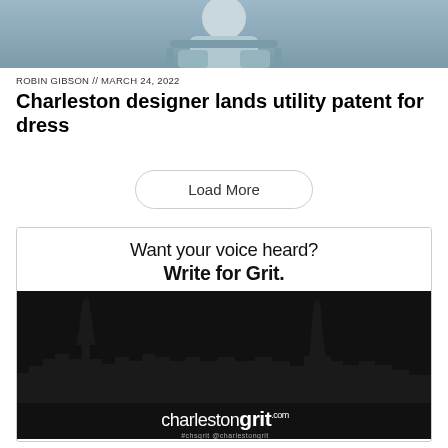[Figure (photo): Top portion of a photo showing a person seated, cropped at top of page]
ROBIN GIBSON // MARCH 24, 2022
Charleston designer lands utility patent for dress
Load More
[Figure (infographic): Advertisement for Charleston Grit. White top section reads 'Want your voice heard? Write for Grit.' Black bottom section shows Charleston skyline silhouette with church steeples and the charlestongrit.com logo. Footer shows #chsgrit @charlestongrit.]